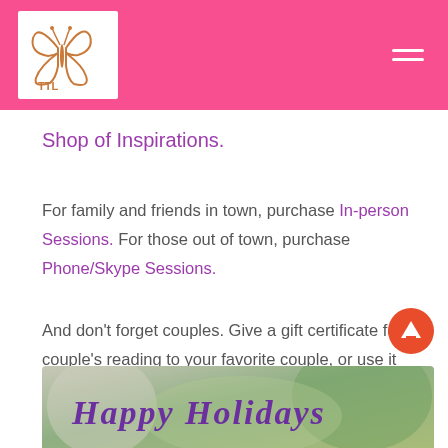TTL logo and navigation header
Shop of Inspirations.
For family and friends in town, purchase In-person Sessions. For those out of town, purchase Phone/Skype Sessions.
And don't forget couples. Give a gift certificate for a couple's reading to your favorite couple, or use it yourself for a reading with your mom, dad, sibling, or friend.
[Figure (photo): Happy Holidays banner image with festive script text over a blurred holiday background]